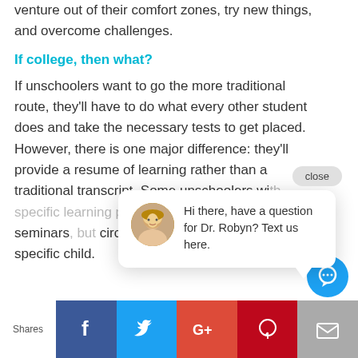venture out of their comfort zones, try new things, and overcome challenges.
If college, then what?
If unschoolers want to go the more traditional route, they'll have to do what every other student does and take the necessary tests to get placed. However, there is one major difference: they'll provide a resume of learning rather than a traditional transcript. Some unschoolers wi... larger seminars... circumstance b... significant gaps... specific child.
[Figure (screenshot): Chat popup overlay with photo of Dr. Robyn and text: Hi there, have a question for Dr. Robyn? Text us here. With a close button.]
[Figure (infographic): Social sharing bar with Facebook, Twitter, Google+, Pinterest, Email buttons and Shares label. Blue chat circle button.]